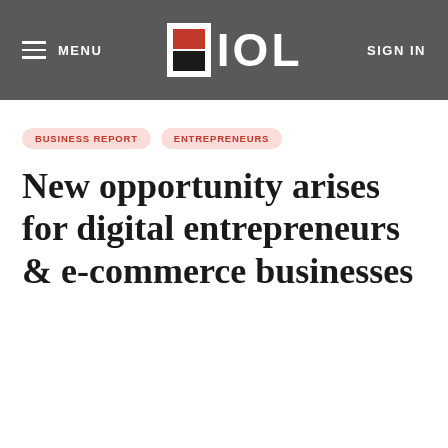MENU | IOL | SIGN IN
BUSINESS REPORT
ENTREPRENEURS
New opportunity arises for digital entrepreneurs & e-commerce businesses